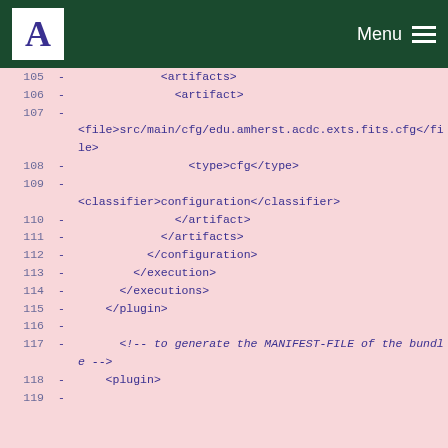A Menu
[Figure (screenshot): Code diff view showing XML lines 105-119 with line numbers, minus diff markers, and pink background. Content includes artifact, file, type, classifier, and plugin XML tags.]